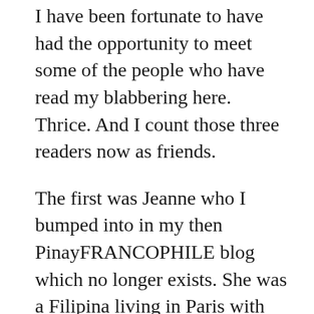I have been fortunate to have had the opportunity to meet some of the people who have read my blabbering here. Thrice. And I count those three readers now as friends.
The first was Jeanne who I bumped into in my then PinayFRANCOPHILE blog which no longer exists. She was a Filipina living in Paris with her son, and we managed to meet in Paris during my second visit there in 2004. We lost touch for a bit but reconnected on Instagram a few years ago and manage to take a peek into each other's lives through our posts. (Thank you, social media!)
Second was Lou from the Midwest who used to have a blog... Multiple blogs. I exist in cyberspace it... We